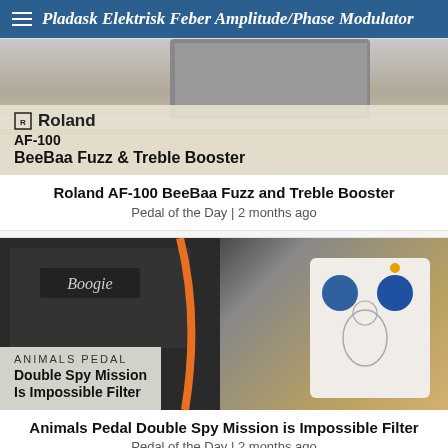Pladask Elektrisk Feber Amplitude/Phase Modulator
[Figure (photo): Roland AF-100 BeeBaa Fuzz and Treble Booster pedal product image with Roland branding overlay]
Roland AF-100 BeeBaa Fuzz and Treble Booster
Pedal of the Day | 2 months ago
[Figure (photo): Animals Pedal Double Spy Mission Is Impossible Filter pedal with Boogie amp in background]
Animals Pedal Double Spy Mission is Impossible Filter
Pedal of the Day | 2 months ago
[Figure (photo): Partial view of another pedal product image at bottom of page]